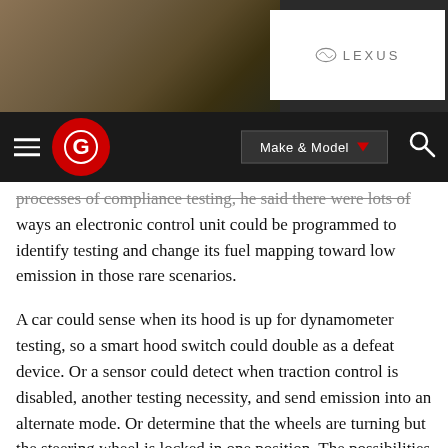[Figure (screenshot): Advertisement banner for Lexus showing a partial car image on a dark background with the Lexus logo on a white rectangle]
Edmunds navigation bar with hamburger menu, Edmunds logo (red circle with G), Make & Model dropdown button, and search icon
processes of compliance testing, he said there were lots of ways an electronic control unit could be programmed to identify testing and change its fuel mapping toward low emission in those rare scenarios.
A car could sense when its hood is up for dynamometer testing, so a smart hood switch could double as a defeat device. Or a sensor could detect when traction control is disabled, another testing necessity, and send emission into an alternate mode. Or determine that the wheels are turning but the steering wheel is locked in one position. The possibilities are almost endless.
"Those things are very, very simple ones you can look at," said Thiruvengadam, who has graduated with his